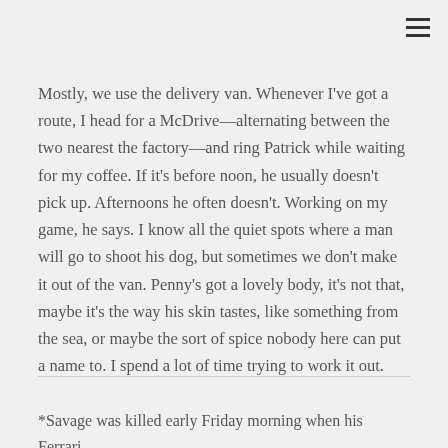☰
Mostly, we use the delivery van. Whenever I've got a route, I head for a McDrive—alternating between the two nearest the factory—and ring Patrick while waiting for my coffee. If it's before noon, he usually doesn't pick up. Afternoons he often doesn't. Working on my game, he says. I know all the quiet spots where a man will go to shoot his dog, but sometimes we don't make it out of the van. Penny's got a lovely body, it's not that, maybe it's the way his skin tastes, like something from the sea, or maybe the sort of spice nobody here can put a name to. I spend a lot of time trying to work it out.
*Savage was killed early Friday morning when his Ferrari